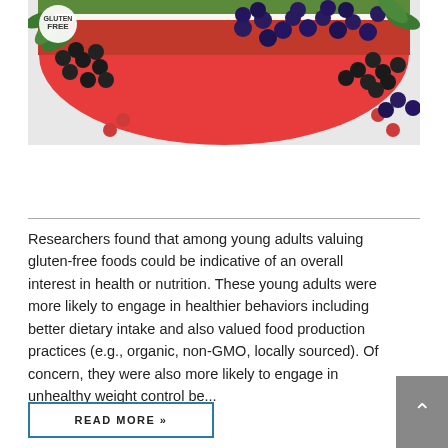[Figure (photo): Heart-shaped watermelon slices with blueberries, blackberries, raspberries, and mint leaves arranged on a white surface. A 'FREE' badge appears in the top-left corner.]
Researchers found that among young adults valuing gluten-free foods could be indicative of an overall interest in health or nutrition. These young adults were more likely to engage in healthier behaviors including better dietary intake and also valued food production practices (e.g., organic, non-GMO, locally sourced). Of concern, they were also more likely to engage in unhealthy weight control be...
READ MORE »